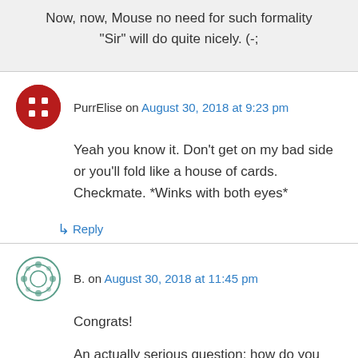Now, now, Mouse no need for such formality “Sir” will do quite nicely. (-;
PurrElise on August 30, 2018 at 9:23 pm
Yeah you know it. Don’t get on my bad side or you’ll fold like a house of cards. Checkmate. *Winks with both eyes*
↳ Reply
B. on August 30, 2018 at 11:45 pm
Congrats!

An actually serious question: how do you plan on fitting all these reviews in? Will one review a